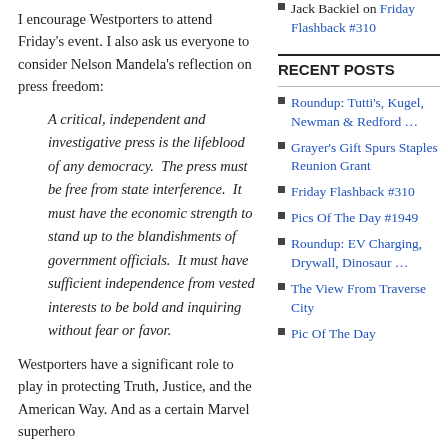I encourage Westporters to attend Friday's event. I also ask us everyone to consider Nelson Mandela's reflection on press freedom:
A critical, independent and investigative press is the lifeblood of any democracy.  The press must be free from state interference.  It must have the economic strength to stand up to the blandishments of government officials.  It must have sufficient independence from vested interests to be bold and inquiring without fear or favor.
Westporters have a significant role to play in protecting Truth, Justice, and the American Way. And as a certain Marvel superhero
Jack Backiel on Friday Flashback #310
RECENT POSTS
Roundup: Tutti's, Kugel, Newman & Redford …
Grayer's Gift Spurs Staples Reunion Grant
Friday Flashback #310
Pics Of The Day #1949
Roundup: EV Charging, Drywall, Dinosaur …
The View From Traverse City
Pic Of The Day